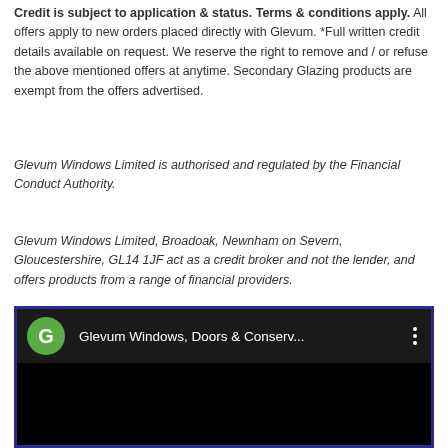Credit is subject to application & status. Terms & conditions apply. All offers apply to new orders placed directly with Glevum. *Full written credit details available on request. We reserve the right to remove and / or refuse the above mentioned offers at anytime. Secondary Glazing products are exempt from the offers advertised.
Glevum Windows Limited is authorised and regulated by the Financial Conduct Authority.
Glevum Windows Limited, Broadoak, Newnham on Severn, Gloucestershire, GL14 1JF act as a credit broker and not the lender, and offers products from a range of financial providers.
[Figure (screenshot): YouTube video player thumbnail showing a dark/black video area with a top bar containing a green circle with letter G, the channel name 'Glevum Windows, Doors & Conserv...' in white text, and a three-dot menu icon. The outer border is dark blue/navy.]